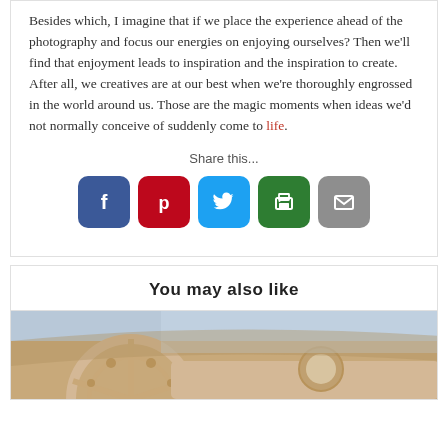Besides which, I imagine that if we place the experience ahead of the photography and focus our energies on enjoying ourselves? Then we’ll find that enjoyment leads to inspiration and the inspiration to create. After all, we creatives are at our best when we’re thoroughly engrossed in the world around us. Those are the magic moments when ideas we’d not normally conceive of suddenly come to life.
Share this...
[Figure (infographic): Five social sharing buttons: Facebook (blue), Pinterest (red), Twitter (light blue), Print (green), Email (grey)]
You may also like
[Figure (photo): Interior of a vintage convertible car showing steering wheel and dashboard in warm beige/brown tones]